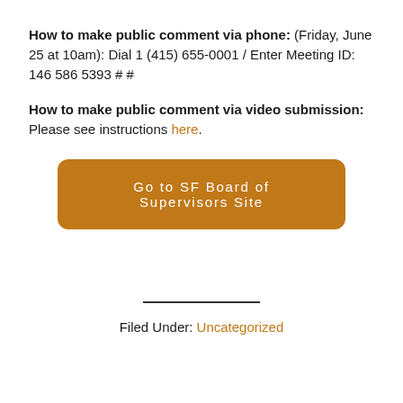How to make public comment via phone: (Friday, June 25 at 10am): Dial 1 (415) 655-0001 / Enter Meeting ID: 146 586 5393 # #
How to make public comment via video submission: Please see instructions here.
Go to SF Board of Supervisors Site
Filed Under: Uncategorized